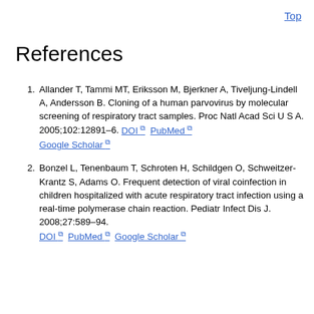Top
References
Allander T, Tammi MT, Eriksson M, Bjerkner A, Tiveljung-Lindell A, Andersson B. Cloning of a human parvovirus by molecular screening of respiratory tract samples. Proc Natl Acad Sci U S A. 2005;102:12891–6. DOI PubMed Google Scholar
Bonzel L, Tenenbaum T, Schroten H, Schildgen O, Schweitzer-Krantz S, Adams O. Frequent detection of viral coinfection in children hospitalized with acute respiratory tract infection using a real-time polymerase chain reaction. Pediatr Infect Dis J. 2008;27:589–94. DOI PubMed Google Scholar